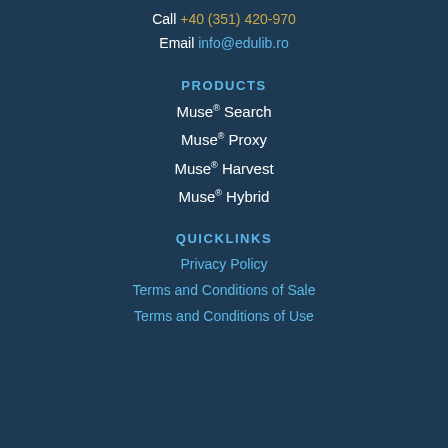Call +40 (351) 420-970
Email info@edulib.ro
PRODUCTS
Muse® Search
Muse® Proxy
Muse® Harvest
Muse® Hybrid
QUICKLINKS
Privacy Policy
Terms and Conditions of Sale
Terms and Conditions of Use